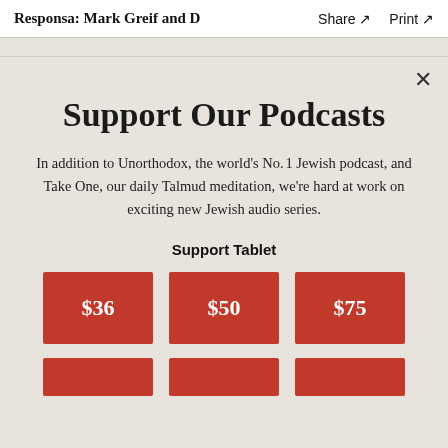Responsa: Mark Greif and D…   Share ↗   Print ↗
Support Our Podcasts
In addition to Unorthodox, the world's No. 1 Jewish podcast, and Take One, our daily Talmud meditation, we're hard at work on exciting new Jewish audio series.
Support Tablet
$36  $50  $75
(additional donation buttons row 2)